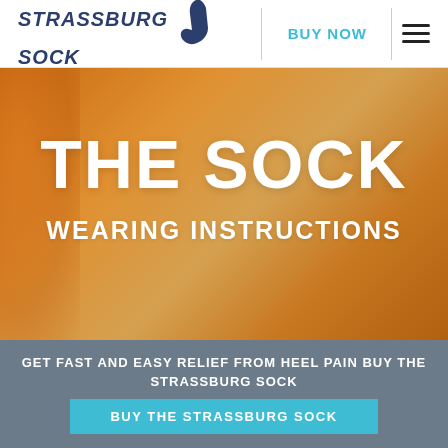[Figure (logo): Strassburg Sock logo with italic bold text and sock silhouette icon]
BUY NOW
[Figure (illustration): Orange/amber gradient hero background with runner silhouette]
THE SOCK
WEARING INSTRUCTIONS
GET FAST AND EASY RELIEF FROM HEEL PAIN BUY THE STRASSBURG SOCK
BUY THE STRASSBURG SOCK